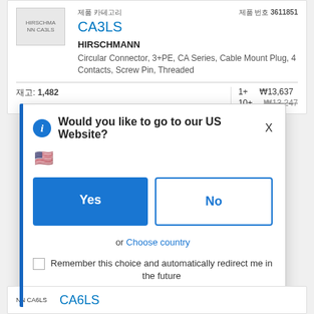[Figure (screenshot): Product listing for HIRSCHMANN CA3LS circular connector on an e-commerce site, showing product image placeholder, name, manufacturer, description, stock count, and pricing in Korean Won. A modal dialog overlays the page asking 'Would you like to go to our US Website?' with Yes/No buttons, a US flag, Choose country link, and a remember checkbox. A partial second product listing (CA6LS) is visible at the bottom.]